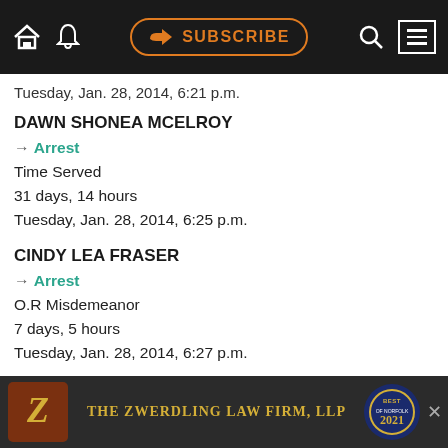SUBSCRIBE navigation bar
Tuesday, Jan. 28, 2014, 6:21 p.m.
DAWN SHONEA MCELROY
→ Arrest
Time Served
31 days, 14 hours
Tuesday, Jan. 28, 2014, 6:25 p.m.
CINDY LEA FRASER
→ Arrest
O.R Misdemeanor
7 days, 5 hours
Tuesday, Jan. 28, 2014, 6:27 p.m.
SHINAEL SUMMER WOLFE
→ Arrest
O.R Misdemeanor
3 hours
[Figure (infographic): Advertisement banner for The Zwerdling Law Firm, LLP with logo and Best badge]